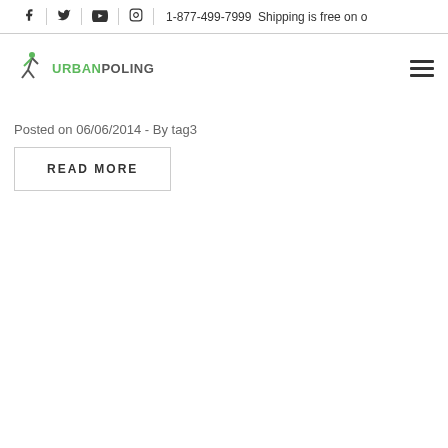f  |  twitter  |  youtube  |  instagram  |  1-877-499-7999  Shipping is free on o
[Figure (logo): Urban Poling logo with stylized figure and text URBANPOLING]
Posted on 06/06/2014 - By tag3
READ MORE